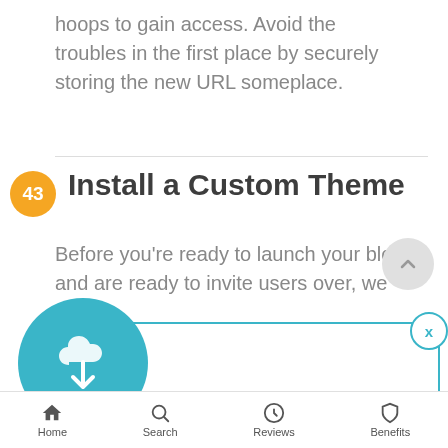hoops to gain access. Avoid the troubles in the first place by securely storing the new URL someplace.
43 Install a Custom Theme
Before you're ready to launch your blog and are ready to invite users over, we
[Figure (infographic): Popup advertisement with download cloud icon circle in teal, showing: 'Download 3 WordPress themes & plugins with lifetime access for FREE!' with 'Click here to Join' link in orange]
Home   Search   Reviews   Benefits